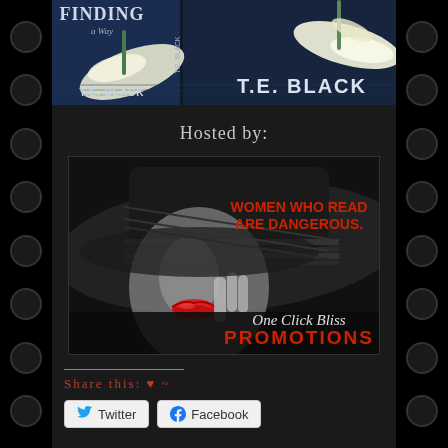[Figure (illustration): Book cover image showing T.E. Black novels with dark background and calla lily flowers, with text 'FINDING' and 'T.E. BLACK' visible]
Hosted by:
[Figure (logo): One Click Bliss Promotions logo - black and white photo of woman with wide-brimmed hat and red lips, text reads 'WOMEN WHO READ ARE DANGEROUS.' and 'One Click Bliss PROMOTIONS']
Share this: ♥ ~
Twitter   Facebook